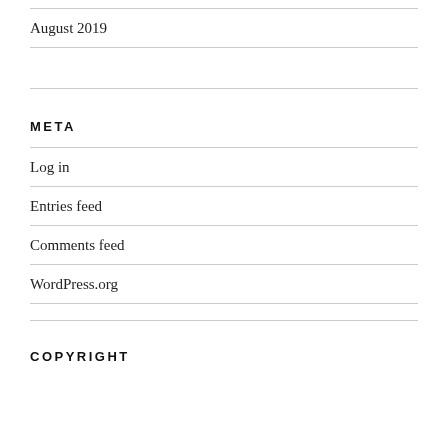August 2019
META
Log in
Entries feed
Comments feed
WordPress.org
COPYRIGHT